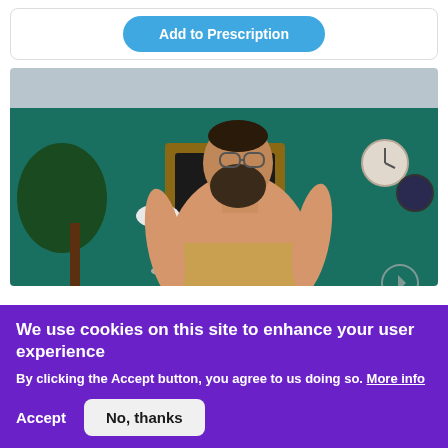Add to Prescription
[Figure (photo): Shirtless bearded man wearing glasses standing in a room with teal walls, a plant, lamp, and clocks in the background]
We use cookies on this site to enhance your user experience
By clicking the Accept button, you agree to us doing so. More info
Accept
No, thanks